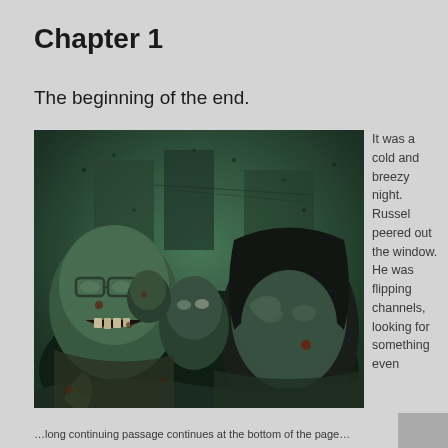Chapter 1
The beginning of the end.
[Figure (illustration): Illustration of a group of zombies with decayed skin, glazed eyes, and torn clothing, set against a dark urban background with green tones.]
It was a cold and breezy night. Russel peered out the window. He was flipping channels, looking for something even
...long continuing passage at the bottom of the page